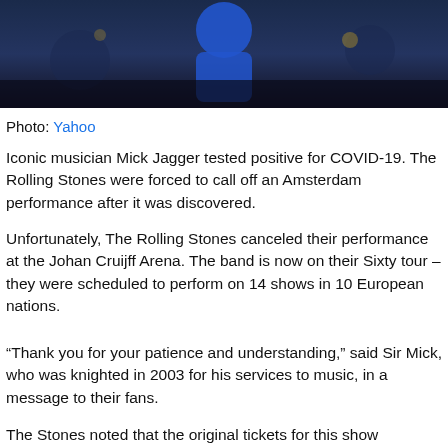[Figure (photo): Concert performance photo showing a figure in blue against a dark background with stage lighting]
Photo: Yahoo
Iconic musician Mick Jagger tested positive for COVID-19. The Rolling Stones were forced to call off an Amsterdam performance after it was discovered.
Unfortunately, The Rolling Stones canceled their performance at the Johan Cruijff Arena. The band is now on their Sixty tour – they were scheduled to perform on 14 shows in 10 European nations.
“Thank you for your patience and understanding,” said Sir Mick, who was knighted in 2003 for his services to music, in a message to their fans.
The Stones noted that the original tickets for this show